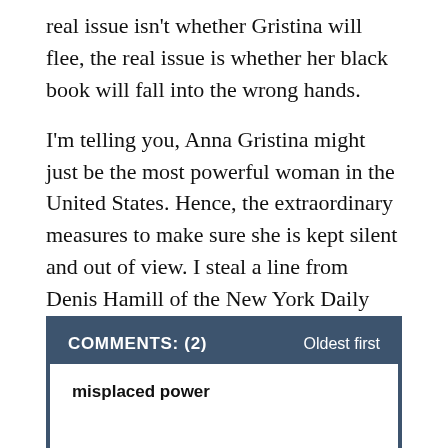real issue isn't whether Gristina will flee, the real issue is whether her black book will fall into the wrong hands.
I'm telling you, Anna Gristina might just be the most powerful woman in the United States. Hence, the extraordinary measures to make sure she is kept silent and out of view. I steal a line from Denis Hamill of the New York Daily News: Has Lady Justice become a streetwalker?
COMMENTS: (2)
Oldest first
misplaced power